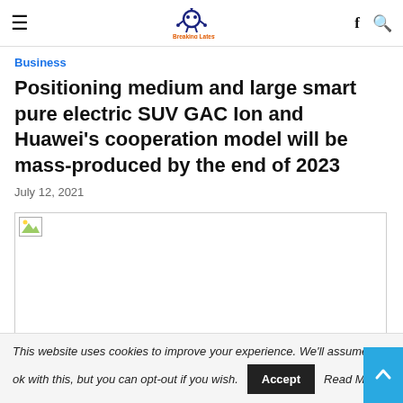Breaking Latest News
Business
Positioning medium and large smart pure electric SUV GAC Ion and Huawei's cooperation model will be mass-produced by the end of 2023
July 12, 2021
[Figure (photo): Broken image placeholder for article photo]
This website uses cookies to improve your experience. We'll assume ok with this, but you can opt-out if you wish.